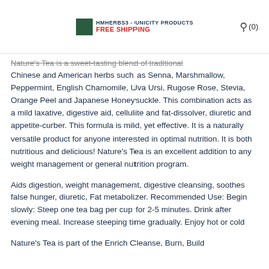HMHERBS3 - UNICITY PRODUCTS FREE SHIPPING (0)
Nature's Tea is a sweet-tasting blend of traditional Chinese and American herbs such as Senna, Marshmallow, Peppermint, English Chamomile, Uva Ursi, Rugose Rose, Stevia, Orange Peel and Japanese Honeysuckle. This combination acts as a mild laxative, digestive aid, cellulite and fat-dissolver, diuretic and appetite-curber. This formula is mild, yet effective. It is a naturally versatile product for anyone interested in optimal nutrition. It is both nutritious and delicious! Nature's Tea is an excellent addition to any weight management or general nutrition program.
Aids digestion, weight management, digestive cleansing, soothes false hunger, diuretic, Fat metabolizer. Recommended Use: Begin slowly: Steep one tea bag per cup for 2-5 minutes. Drink after evening meal. Increase steeping time gradually. Enjoy hot or cold
Nature's Tea is part of the Enrich Cleanse, Burn, Build